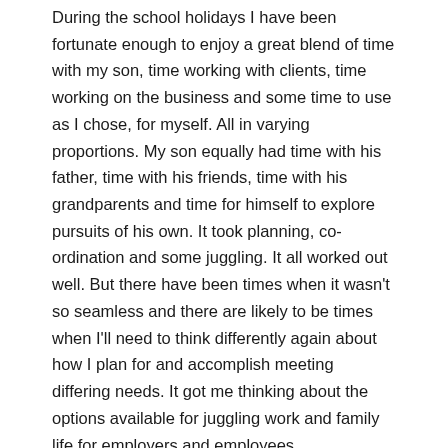During the school holidays I have been fortunate enough to enjoy a great blend of time with my son, time working with clients, time working on the business and some time to use as I chose, for myself. All in varying proportions. My son equally had time with his father, time with his friends, time with his grandparents and time for himself to explore pursuits of his own. It took planning, co-ordination and some juggling. It all worked out well. But there have been times when it wasn't so seamless and there are likely to be times when I'll need to think differently again about how I plan for and accomplish meeting differing needs. It got me thinking about the options available for juggling work and family life for employers and employees.
I Googled the definitions of 'family friendly working' and was directed to research from Working Families and DirectGov.UK. In the 2019 Modern Families Index they quote that there are 6.2 million couple households with dependent children in the UK and 1.7 lone-parent families. Employment rates for mothers was a